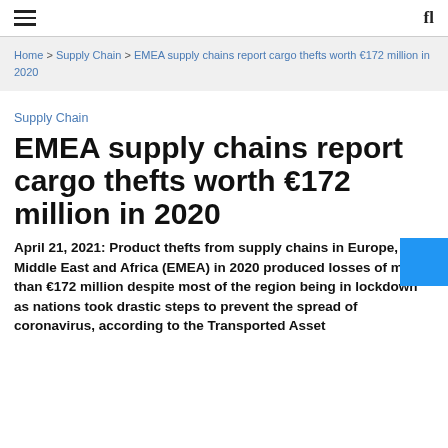≡  fl
Home > Supply Chain > EMEA supply chains report cargo thefts worth €172 million in 2020
Supply Chain
EMEA supply chains report cargo thefts worth €172 million in 2020
April 21, 2021: Product thefts from supply chains in Europe, the Middle East and Africa (EMEA) in 2020 produced losses of more than €172 million despite most of the region being in lockdown as nations took drastic steps to prevent the spread of coronavirus, according to the Transported Asset